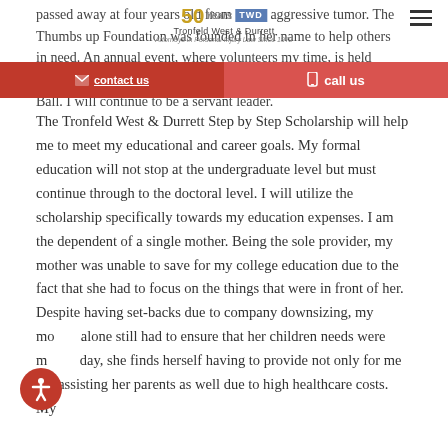passed away at four years old from a rare aggressive tumor. The Thumbs up Foundation was founded in her name to help others in need. An annual event, where volunteers my time, is held each year in Richmond, VA to help the cause is the Thumbs-Up Ball. I will continue to be a servant leader.
[Figure (logo): 50 year anniversary logo with TWD box and firm name Tronfeld West & Durrett, tagline Attorneys in Personal Injury Law Since 1972]
[Figure (infographic): Contact bar with red 'contact us' button and pink 'call us' button]
The Tronfeld West & Durrett Step by Step Scholarship will help me to meet my educational and career goals. My formal education will not stop at the undergraduate level but must continue through to the doctoral level. I will utilize the scholarship specifically towards my education expenses. I am the dependent of a single mother. Being the sole provider, my mother was unable to save for my college education due to the fact that she had to focus on the things that were in front of her. Despite having set-backs due to company downsizing, my mother alone still had to ensure that her children needs were met. Today, she finds herself having to provide not only for me but assisting her parents as well due to high healthcare costs. My